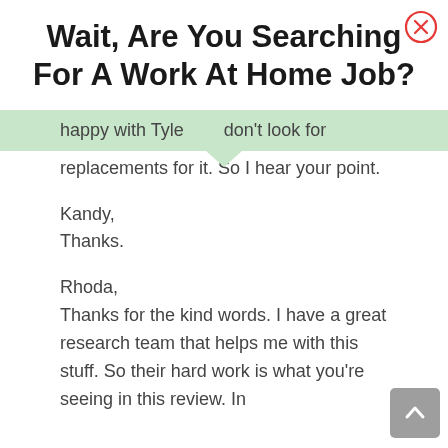Wait, Are You Searching For A Work At Home Job?
happy with Tylerdon't look for replacements for it. So I hear your point.
Kandy,
Thanks.
Rhoda,
Thanks for the kind words. I have a great research team that helps me with this stuff. So their hard work is what you're seeing in this review. In